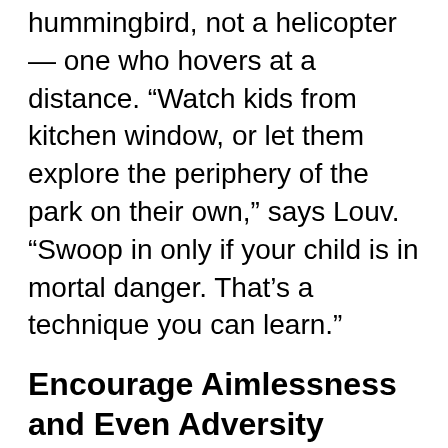hummingbird, not a helicopter — one who hovers at a distance. “Watch kids from kitchen window, or let them explore the periphery of the park on their own,” says Louv. “Swoop in only if your child is in mortal danger. That’s a technique you can learn.”
Encourage Aimlessness and Even Adversity
Not every minute needs to fulfill some obvious purpose in your child’s life. “Even time that seems fallow or ‘unenriched” is very enriching,” says Skenazy. “If you just watch the birds